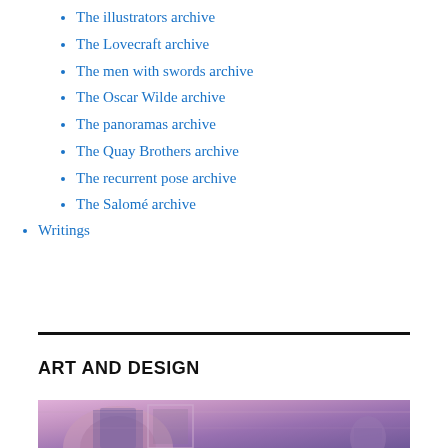The illustrators archive
The Lovecraft archive
The men with swords archive
The Oscar Wilde archive
The panoramas archive
The Quay Brothers archive
The recurrent pose archive
The Salomé archive
Writings
ART AND DESIGN
[Figure (illustration): Colorful illustration with purple and pink tones showing architectural arches and decorative elements]